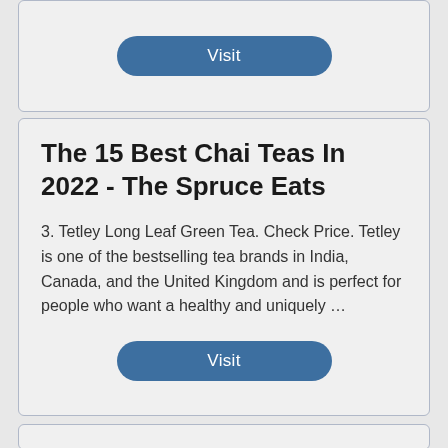[Figure (screenshot): Top card with a Visit button (blue rounded rectangle)]
The 15 Best Chai Teas In 2022 - The Spruce Eats
3. Tetley Long Leaf Green Tea. Check Price. Tetley is one of the bestselling tea brands in India, Canada, and the United Kingdom and is perfect for people who want a healthy and uniquely …
[Figure (screenshot): Visit button (blue rounded rectangle)]
[Figure (screenshot): Bottom card partially visible]